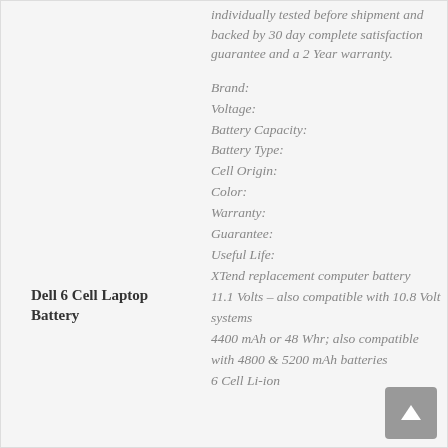individually tested before shipment and backed by 30 day complete satisfaction guarantee and a 2 Year warranty.
Dell 6 Cell Laptop Battery
Brand:
Voltage:
Battery Capacity:
Battery Type:
Cell Origin:
Color:
Warranty:
Guarantee:
Useful Life:
XTend replacement computer battery
11.1 Volts – also compatible with 10.8 Volt systems
4400 mAh or 48 Whr; also compatible with 4800 & 5200 mAh batteries
6 Cell Li-ion